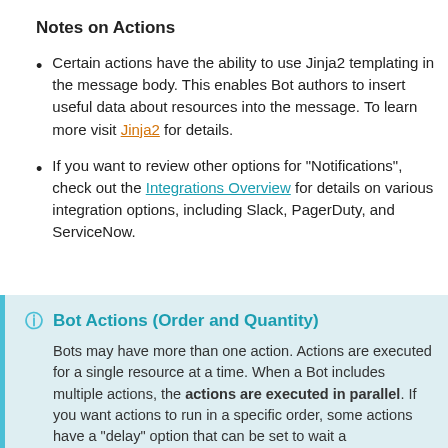Notes on Actions
Certain actions have the ability to use Jinja2 templating in the message body. This enables Bot authors to insert useful data about resources into the message. To learn more visit Jinja2 for details.
If you want to review other options for "Notifications", check out the Integrations Overview for details on various integration options, including Slack, PagerDuty, and ServiceNow.
Bot Actions (Order and Quantity)
Bots may have more than one action. Actions are executed for a single resource at a time. When a Bot includes multiple actions, the actions are executed in parallel. If you want actions to run in a specific order, some actions have a "delay" option that can be set to wait a